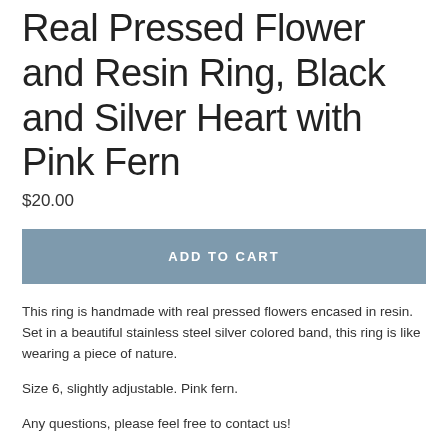Real Pressed Flower and Resin Ring, Black and Silver Heart with Pink Fern
$20.00
ADD TO CART
This ring is handmade with real pressed flowers encased in resin. Set in a beautiful stainless steel silver colored band, this ring is like wearing a piece of nature.
Size 6, slightly adjustable. Pink fern.
Any questions, please feel free to contact us!
✿ Custom orders available! Like what you see but don't love the colors or frame? Let us make something extra special just